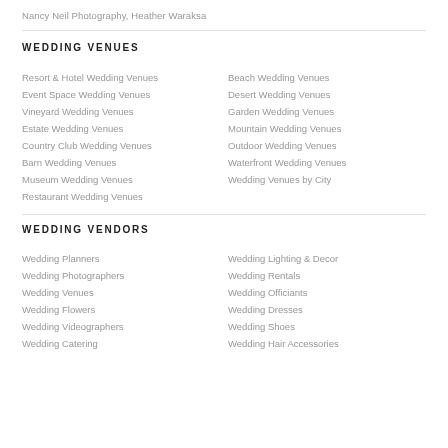Nancy Neil Photography, Heather Waraksa
WEDDING VENUES
Resort & Hotel Wedding Venues
Event Space Wedding Venues
Vineyard Wedding Venues
Estate Wedding Venues
Country Club Wedding Venues
Barn Wedding Venues
Museum Wedding Venues
Restaurant Wedding Venues
Beach Wedding Venues
Desert Wedding Venues
Garden Wedding Venues
Mountain Wedding Venues
Outdoor Wedding Venues
Waterfront Wedding Venues
Wedding Venues by City
WEDDING VENDORS
Wedding Planners
Wedding Photographers
Wedding Venues
Wedding Flowers
Wedding Videographers
Wedding Catering
Wedding Lighting & Decor
Wedding Rentals
Wedding Officiants
Wedding Dresses
Wedding Shoes
Wedding Hair Accessories